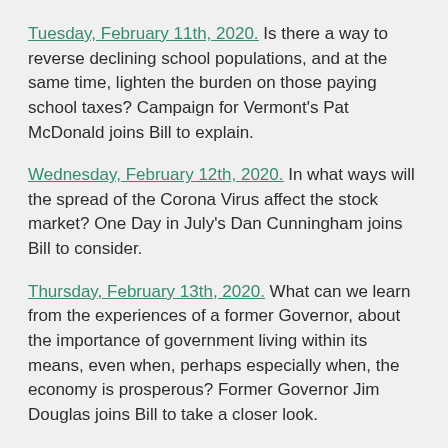Tuesday, February 11th, 2020. Is there a way to reverse declining school populations, and at the same time, lighten the burden on those paying school taxes? Campaign for Vermont's Pat McDonald joins Bill to explain.
Wednesday, February 12th, 2020. In what ways will the spread of the Corona Virus affect the stock market? One Day in July's Dan Cunningham joins Bill to consider.
Thursday, February 13th, 2020. What can we learn from the experiences of a former Governor, about the importance of government living within its means, even when, perhaps especially when, the economy is prosperous? Former Governor Jim Douglas joins Bill to take a closer look.
Friday, February 14th, 2020. What are the key challenges facing Vermont businesses as they attempt to grow, hire,